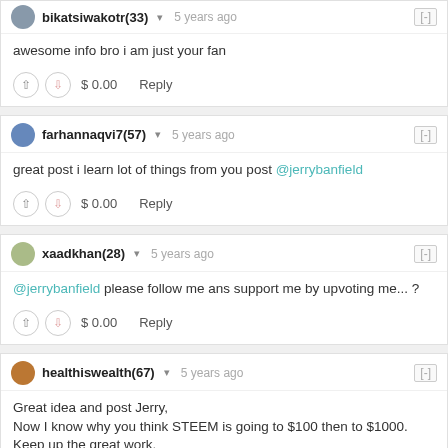bikatsiwakotr(33) ▾ 5 years ago [-]
awesome info bro i am just your fan
$ 0.00   Reply
farhannaqvi7(57) ▾ 5 years ago [-]
great post i learn lot of things from you post @jerrybanfield
$ 0.00   Reply
xaadkhan(28) ▾ 5 years ago [-]
@jerrybanfield please follow me ans support me by upvoting me... ?
$ 0.00   Reply
healthiswealth(67) ▾ 5 years ago [-]
Great idea and post Jerry,
Now I know why you think STEEM is going to $100 then to $1000.
Keep up the great work.
$ 0.00   Reply